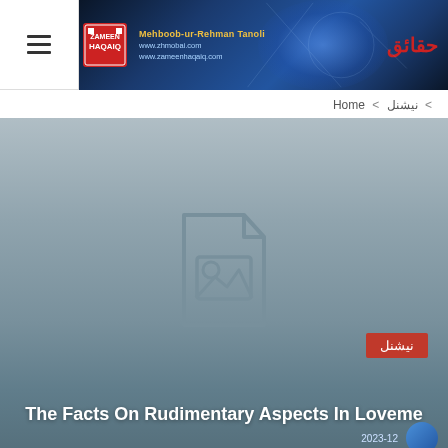Zameen Haqaiq — banner header with logo and navigation hamburger
Home < نیشنل <
[Figure (screenshot): Article thumbnail placeholder — grey gradient background with a file/image placeholder icon in the center, a red category tag reading نیشنل in bottom right, and white bold article title 'The Facts On Rudimentary Aspects In Loveme']
The Facts On Rudimentary Aspects In Loveme